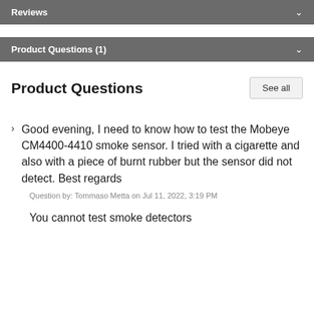Reviews
Product Questions (1)
Product Questions
Good evening, I need to know how to test the Mobeye CM4400-4410 smoke sensor. I tried with a cigarette and also with a piece of burnt rubber but the sensor did not detect. Best regards
Question by: Tommaso Metta on Jul 11, 2022, 3:19 PM
You cannot test smoke detectors